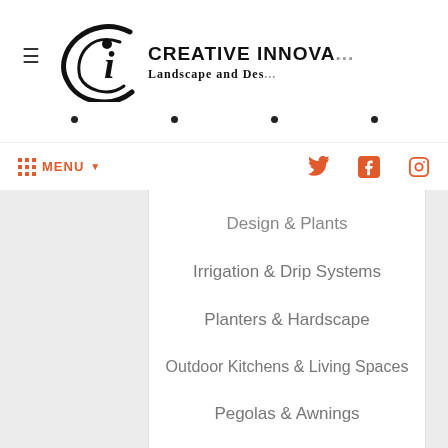[Figure (logo): Creative Innovations Landscape and Design logo with stylized Ci emblem]
CREATIVE INNOVA... / Landscape and Des...
Design & Plants
Irrigation & Drip Systems
Planters & Hardscape
Outdoor Kitchens & Living Spaces
Pegolas & Awnings